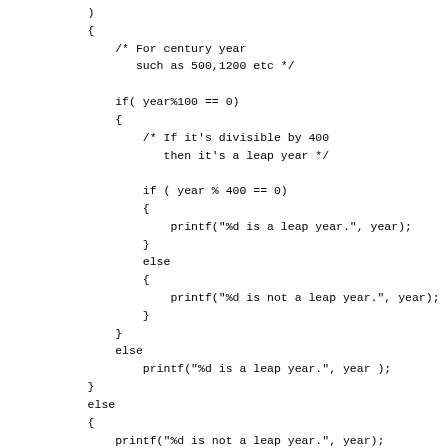C code snippet showing leap year logic with nested if-else and printf statements